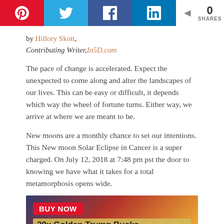[Figure (other): Social media sharing buttons: Pinterest (red), Twitter (blue), Facebook (blue), LinkedIn (teal), and a share count showing 0 SHARES]
by Hillory Skott,
Contributing Writer, In5D.com
The pace of change is accelerated. Expect the unexpected to come along and alter the landscapes of our lives. This can be easy or difficult, it depends which way the wheel of fortune turns. Either way, we arrive at where we are meant to be.
New moons are a monthly chance to set our intentions. This New moon Solar Eclipse in Cancer is a super charged. On July 12, 2018 at 7:48 pm pst the door to knowing we have what it takes for a total metamorphosis opens wide.
[Figure (other): Advertisement banner with BUY NOW button (red) and text '30x Golden Trump Bucks' on a gold/patriotic themed background]